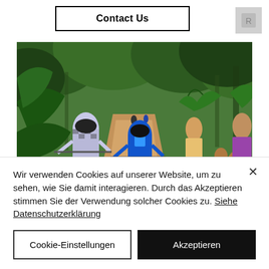Contact Us
[Figure (photo): Cyclists riding on a dirt road through a lush green tropical forest. Two cyclists in helmets and cycling gear are visible from behind riding mountain bikes. On the right side of the road, local children and women are walking and waving, some carrying vegetation on their heads.]
Wir verwenden Cookies auf unserer Website, um zu sehen, wie Sie damit interagieren. Durch das Akzeptieren stimmen Sie der Verwendung solcher Cookies zu. Siehe Datenschutzerklärung
Cookie-Einstellungen
Akzeptieren